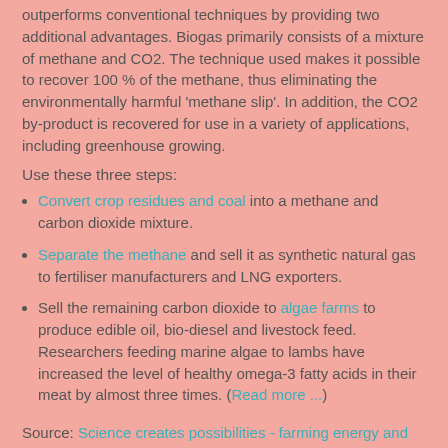outperforms conventional techniques by providing two additional advantages. Biogas primarily consists of a mixture of methane and CO2. The technique used makes it possible to recover 100 % of the methane, thus eliminating the environmentally harmful 'methane slip'. In addition, the CO2 by-product is recovered for use in a variety of applications, including greenhouse growing.
Use these three steps:
Convert crop residues and coal into a methane and carbon dioxide mixture.
Separate the methane and sell it as synthetic natural gas to fertiliser manufacturers and LNG exporters.
Sell the remaining carbon dioxide to algae farms to produce edible oil, bio-diesel and livestock feed. Researchers feeding marine algae to lambs have increased the level of healthy omega-3 fatty acids in their meat by almost three times. (Read more ...)
Source: Science creates possibilities - farming energy and